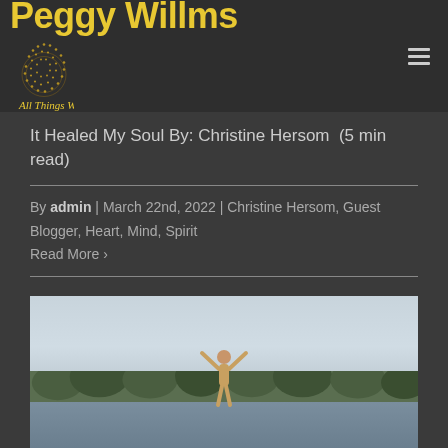Peggy Willms All Things Wellness
It Healed My Soul By: Christine Hersom  (5 min read)
By admin | March 22nd, 2022 | Christine Hersom, Guest Blogger, Heart, Mind, Spirit
Read More ›
[Figure (photo): Person standing in a lake with arms raised triumphantly, trees visible in background, overcast sky]